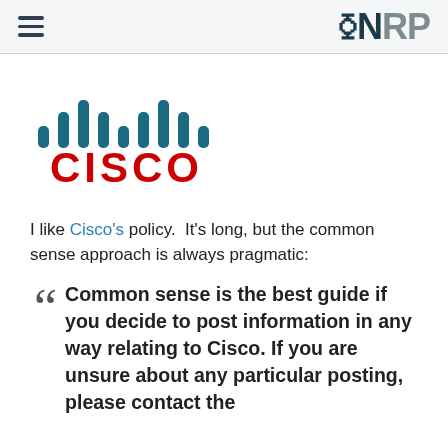WRP (navigation bar with hamburger menu and WRP logo)
[Figure (logo): Cisco logo: teal/dark-cyan vertical bars signal icon above red bold CISCO text]
I like Cisco's policy.  It's long, but the common sense approach is always pragmatic:
Common sense is the best guide if you decide to post information in any way relating to Cisco. If you are unsure about any particular posting, please contact the